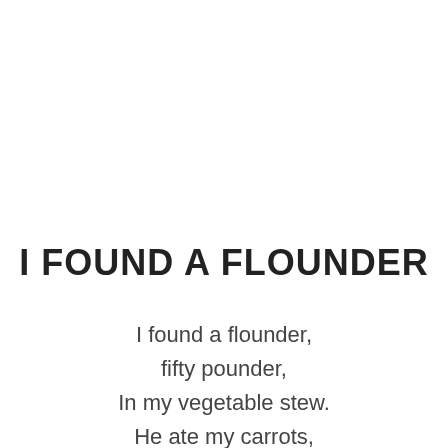I FOUND A FLOUNDER
I found a flounder,
fifty pounder,
In my vegetable stew.
He ate my carrots,
He ate my peas,
And he ate my broccoli, too.